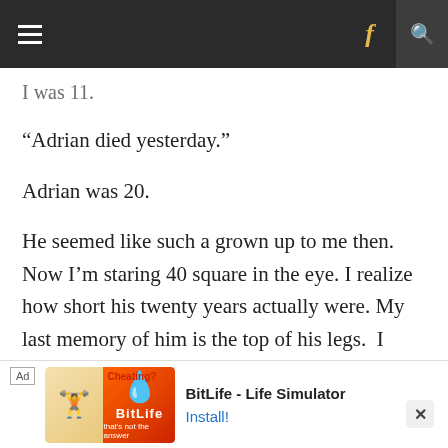Navigation bar with hamburger menu, Facebook icon, and search icon
I was 11.
“Adrian died yesterday.”
Adrian was 20.
He seemed like such a grown up to me then.  Now I’m staring 40 square in the eye. I realize how short his twenty years actually were. My last memory of him is the top of his legs.  I stood looking out of my parents upstairs landing window. His gold Ford Sierra was parked outside.  I looked down from above, his torso and
[Figure (screenshot): Mobile advertisement banner for BitLife - Life Simulator app, with orange/red background, sperm icon logo, and Install button]